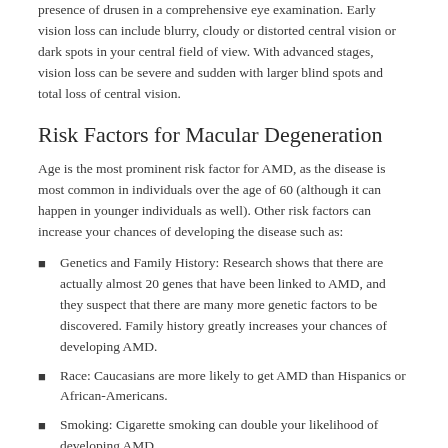presence of drusen in a comprehensive eye examination. Early vision loss can include blurry, cloudy or distorted central vision or dark spots in your central field of view. With advanced stages, vision loss can be severe and sudden with larger blind spots and total loss of central vision.
Risk Factors for Macular Degeneration
Age is the most prominent risk factor for AMD, as the disease is most common in individuals over the age of 60 (although it can happen in younger individuals as well). Other risk factors can increase your chances of developing the disease such as:
Genetics and Family History: Research shows that there are actually almost 20 genes that have been linked to AMD, and they suspect that there are many more genetic factors to be discovered. Family history greatly increases your chances of developing AMD.
Race: Caucasians are more likely to get AMD than Hispanics or African-Americans.
Smoking: Cigarette smoking can double your likelihood of developing AMD.
Lifestyle: Research shows that UV exposure, poor nutrition, high